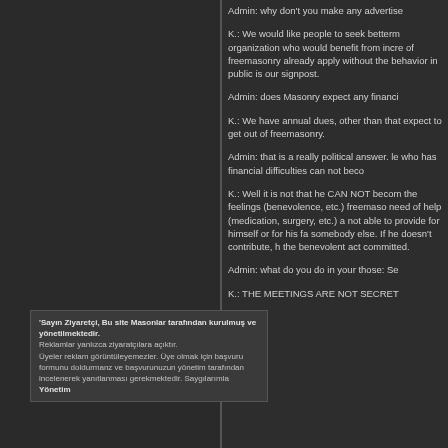Admin: why don't you make any advertise
K.: We would like people to seek betterm organization who would benefit from incre of freemasonry already apply without the behavior in public is our signpost.
Admin: does Masonry expect any financi
K.: We have annual dues, other than that expect to get out of freemasonry.
Admin: that is a really political answer. le who has financial difficulties can not beco
K.: Well it is not that he CAN NOT becom the feelings (benevolence, etc.) freemaso need of help (medication, surgery, etc.) a not able to provide for himself or for his fa somebody else. If he doesn't contribute, h the benevolent act committed.
Admin: what do you do in your those: Se
K.: THE MEETINGS ARE NOT SECRET
'Sayın Ziyaretçi, Bu site Masonlar tarafından kurulmuş ve yönetilmektedir. Reklamlar yanlızca ziyaratçılara açıktır. Üyeler reklam görüntüleyemezler. Üye olmak için başvuru formunu doldurmanz ve başvurunuzun yönetim tarafından incelenerek yanıtlanması gerekmektedir. Saygılarımla Yönetim